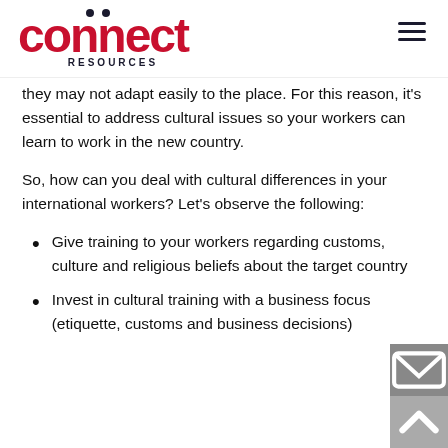Connect Resources
they may not adapt easily to the place. For this reason, it's essential to address cultural issues so your workers can learn to work in the new country.
So, how can you deal with cultural differences in your international workers? Let's observe the following:
Give training to your workers regarding customs, culture and religious beliefs about the target country
Invest in cultural training with a business focus (etiquette, customs and business decisions)